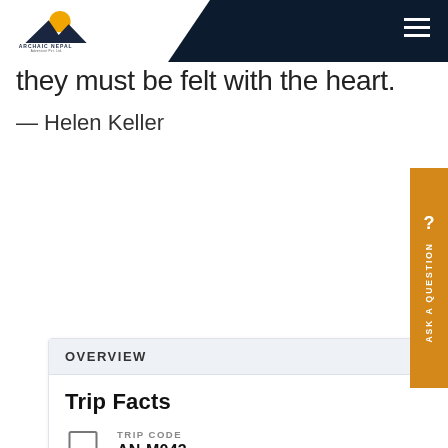Archaic Nepal Adventure Pvt. Ltd.
they must be felt with the heart.
— Helen Keller
OVERVIEW
Trip Facts
TRIP CODE
AN-M043
TRIP LENGTH
18 Days
PRICE
from USD 1087 / per person
ROUTE DIFFICULTY
Level 2